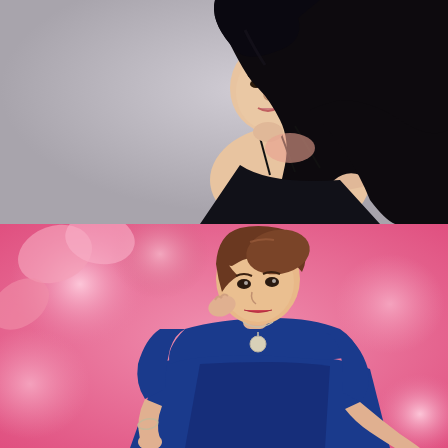[Figure (photo): Young woman with long straight black hair and bangs, wearing a black spaghetti-strap top, posed looking over her shoulder against a light gray background.]
[Figure (photo): Woman with brown upswept hair wearing a blue velvet dress and long necklace, posed with hand near face against a pink bokeh floral background.]